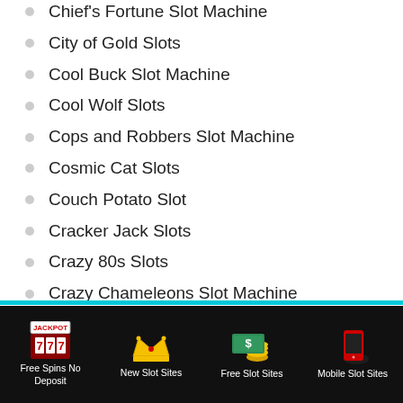Chief's Fortune Slot Machine
City of Gold Slots
Cool Buck Slot Machine
Cool Wolf Slots
Cops and Robbers Slot Machine
Cosmic Cat Slots
Couch Potato Slot
Cracker Jack Slots
Crazy 80s Slots
Crazy Chameleons Slot Machine
Crazy Crocodile Slots
Cricket Star Slots
Free Spins No Deposit | New Slot Sites | Free Slot Sites | Mobile Slot Sites